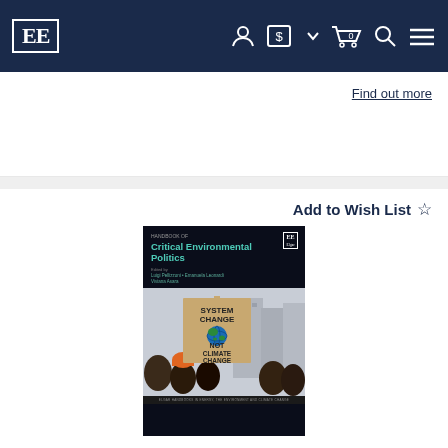[Figure (screenshot): Elgar Edward publisher website navigation bar with EE logo and icons]
Find out more
Add to Wish List ☆
[Figure (photo): Book cover: Handbook of Critical Environmental Politics, edited by Luigi Pellizzoni, Emanuuela Leonardi, Viviana Asara. Dark cover with protest photo showing a cardboard sign reading SYSTEM CHANGE NOT CLIMATE CHANGE with a globe image.]